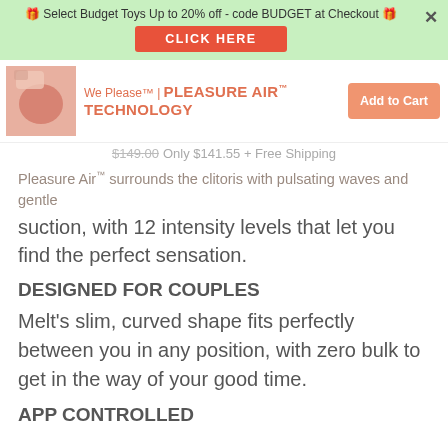🎁 Select Budget Toys Up to 20% off - code BUDGET at Checkout 🎁
CLICK HERE
We Please™ | PLEASURE AIR™ TECHNOLOGY   Add to Cart
$149.00  Only $141.55 + Free Shipping
Pleasure Air™ surrounds the clitoris with pulsating waves and gentle suction, with 12 intensity levels that let you find the perfect sensation.
DESIGNED FOR COUPLES
Melt's slim, curved shape fits perfectly between you in any position, with zero bulk to get in the way of your good time.
APP CONTROLLED